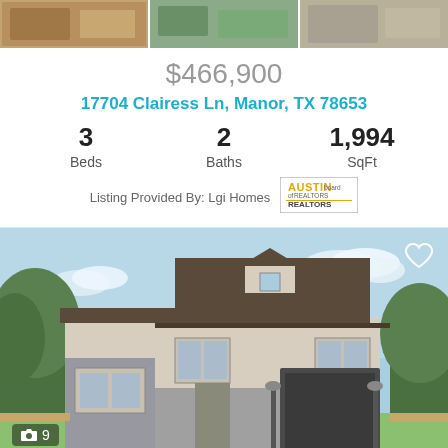[Figure (photo): Top strip of house photo thumbnails]
$466,900
17704 Clairess Ln, Manor, TX 78653
3 Beds  2 Baths  1,994 SqFt
Listing Provided By: Lgi Homes
[Figure (logo): Austin Board of REALTORS badge]
[Figure (photo): Two-story light brick house with dark roof, garage, and landscaping. Camera icon with 9 images badge in lower left, heart icon in upper right.]
$465,900
17804 Clairess Ln, Manor, TX 78653